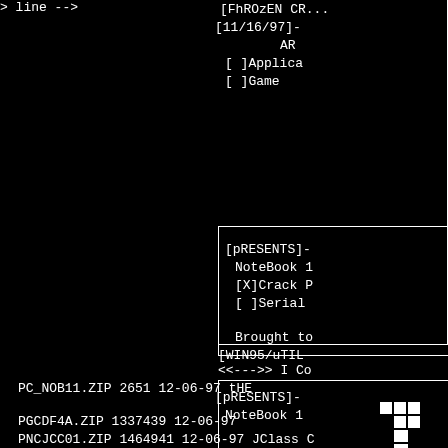[Figure (screenshot): DOS/BBS-style file listing screen with monospace white text on black background. Shows file entries PC_NOB11.ZIP and PGCDF4A.ZIP with sizes and dates. Right side shows a menu/info panel with entries for [FhROzEN CR...], [11/16/97]-, AR, [ ]Applica, [ ]Game, <<--->> I Co, tHE, [pRESENTS]-, NoteBook 1, [X]Crack P, [ ]Serial, Brought to, [WIN95/uTIL, and pixel art icon.]
PC_NOB11.ZIP      2651  12-06-97  tHE
PGCDF4A.ZIP    1337439  12-06-97
PNCJCC01.ZIP   1464941  12-06-97    JClass C